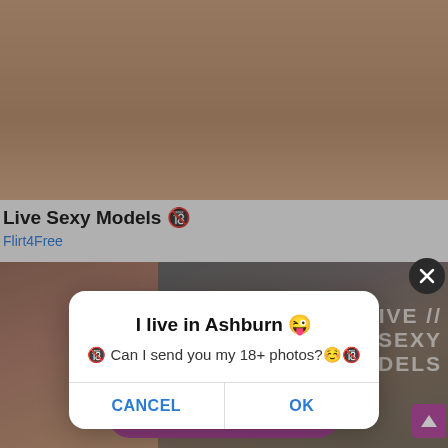[Figure (screenshot): Screenshot of an adult content website showing explicit thumbnail images in the background, with a browser dialog popup overlay]
Live Sexy Models 🔞
Flirt4Free
I live in Ashburn 😜
🔞 Can I send you my 18+ photos?☺️🔞
CANCEL
OK
LIVE // SEXY MODELS
FREE 120 CREDITS